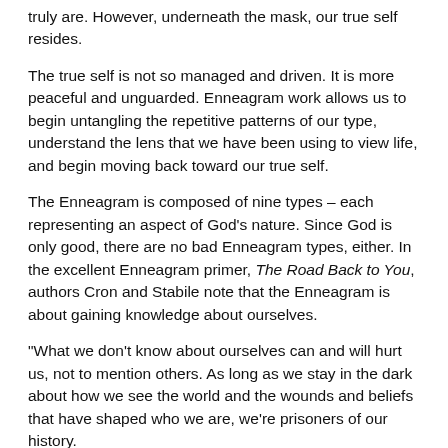truly are. However, underneath the mask, our true self resides.
The true self is not so managed and driven. It is more peaceful and unguarded. Enneagram work allows us to begin untangling the repetitive patterns of our type, understand the lens that we have been using to view life, and begin moving back toward our true self.
The Enneagram is composed of nine types – each representing an aspect of God's nature. Since God is only good, there are no bad Enneagram types, either. In the excellent Enneagram primer, The Road Back to You, authors Cron and Stabile note that the Enneagram is about gaining knowledge about ourselves.
"What we don't know about ourselves can and will hurt us, not to mention others. As long as we stay in the dark about how we see the world and the wounds and beliefs that have shaped who we are, we're prisoners of our history.